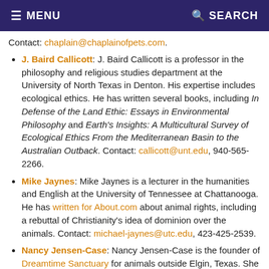MENU   SEARCH
Contact: chaplain@chaplainofpets.com.
J. Baird Callicott: J. Baird Callicott is a professor in the philosophy and religious studies department at the University of North Texas in Denton. His expertise includes ecological ethics. He has written several books, including In Defense of the Land Ethic: Essays in Environmental Philosophy and Earth’s Insights: A Multicultural Survey of Ecological Ethics From the Mediterranean Basin to the Australian Outback. Contact: callicott@unt.edu, 940-565-2266.
Mike Jaynes: Mike Jaynes is a lecturer in the humanities and English at the University of Tennessee at Chattanooga. He has written for About.com about animal rights, including a rebuttal of Christianity's idea of dominion over the animals. Contact: michael-jaynes@utc.edu, 423-425-2539.
Nancy Jensen-Case: Nancy Jensen-Case is the founder of Dreamtime Sanctuary for animals outside Elgin, Texas. She is a graduate of the Episcopal Theological Seminary in Austin, Texas, and is a chaplain. Contact: